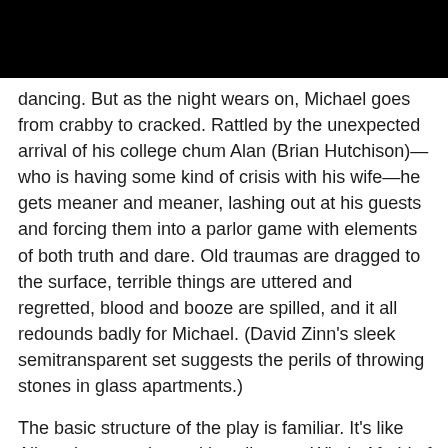dancing. But as the night wears on, Michael goes from crabby to cracked. Rattled by the unexpected arrival of his college chum Alan (Brian Hutchison)—who is having some kind of crisis with his wife—he gets meaner and meaner, lashing out at his guests and forcing them into a parlor game with elements of both truth and dare. Old traumas are dragged to the surface, terrible things are uttered and regretted, blood and booze are spilled, and it all redounds badly for Michael. (David Zinn's sleek semitransparent set suggests the perils of throwing stones in glass apartments.)
The basic structure of the play is familiar. It's like Albee, but campier and less literary: Who's Afraid of Virginia Mayo. But it has mostly aged well: It has resonance and snap.